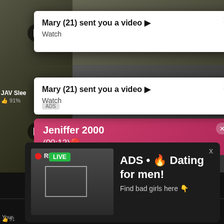[Figure (screenshot): Adult content website screenshot with multiple popup ads overlaid on video thumbnails]
Mary (21) sent you a video ▶
Watch
Mary (21) sent you a video ▶
Watch
Jeniffer 2000
(00:12)🔴
ADS • 🔥 Dating for men!
Find bad girls here 👇
JAV Slee
👍 91%
LIVE
REC